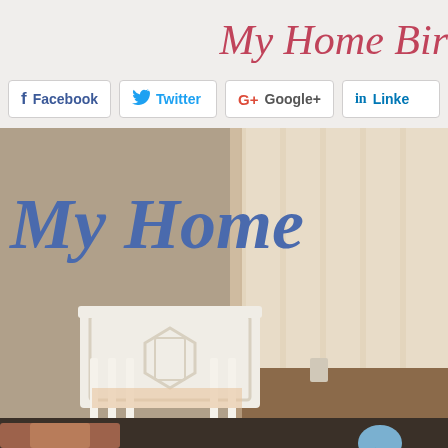My Home Birt…
[Figure (screenshot): Social media share buttons: Facebook, Twitter, Google+, LinkedIn]
[Figure (photo): Nursery room photo with white crib, tan/beige curtains with brown stripe, and text overlay reading 'My Home' in bold italic blue letters]